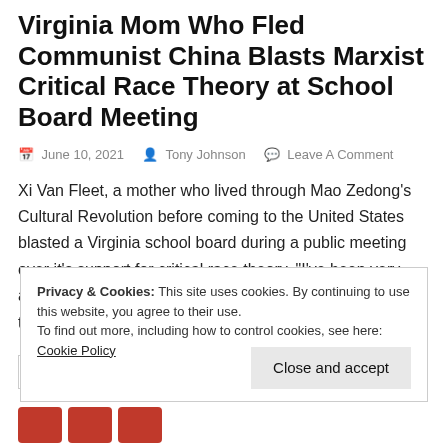Virginia Mom Who Fled Communist China Blasts Marxist Critical Race Theory at School Board Meeting
June 10, 2021   Tony Johnson   Leave A Comment
Xi Van Fleet, a mother who lived through Mao Zedong’s Cultural Revolution before coming to the United States blasted a Virginia school board during a public meeting over it’s support for critical race theory. “I’ve been very alarmed by what’s going on in our schools,” Xi Van Fleet told the Loudoun County School Board members. [...]
Privacy & Cookies: This site uses cookies. By continuing to use this website, you agree to their use.
To find out more, including how to control cookies, see here: Cookie Policy